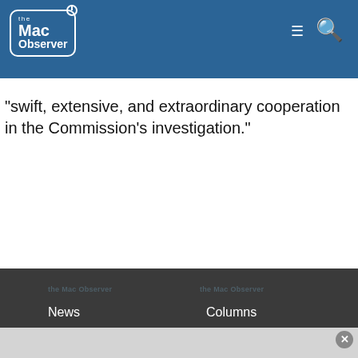The Mac Observer — navigation header
"swift, extensive, and extraordinary cooperation in the Commission’s investigation."
News
Reviews
Tutorials
Podcasts
Submit a Tip / Contact Us
About Us
Columns
Editorials
Quick Tips
Apple Death Knells
View All Categories